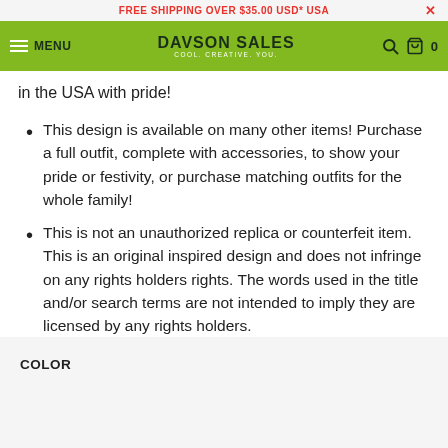FREE SHIPPING OVER $35.00 USD* USA
[Figure (logo): Davson Sales navigation bar with hamburger menu, MENU text, Davson Sales logo with tagline COOL. CREATIVE. YOU., search icon, cart icon and 0 count]
in the USA with pride!
This design is available on many other items! Purchase a full outfit, complete with accessories, to show your pride or festivity, or purchase matching outfits for the whole family!
This is not an unauthorized replica or counterfeit item. This is an original inspired design and does not infringe on any rights holders rights. The words used in the title and/or search terms are not intended to imply they are licensed by any rights holders.
COLOR